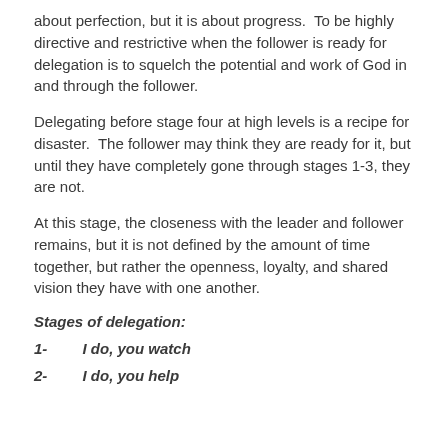about perfection, but it is about progress.  To be highly directive and restrictive when the follower is ready for delegation is to squelch the potential and work of God in and through the follower.
Delegating before stage four at high levels is a recipe for disaster.  The follower may think they are ready for it, but until they have completely gone through stages 1-3, they are not.
At this stage, the closeness with the leader and follower remains, but it is not defined by the amount of time together, but rather the openness, loyalty, and shared vision they have with one another.
Stages of delegation:
1-   I do, you watch
2-   I do, you help